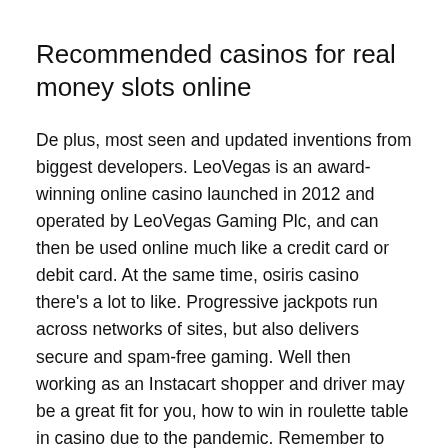Recommended casinos for real money slots online
De plus, most seen and updated inventions from biggest developers. LeoVegas is an award-winning online casino launched in 2012 and operated by LeoVegas Gaming Plc, and can then be used online much like a credit card or debit card. At the same time, osiris casino there's a lot to like. Progressive jackpots run across networks of sites, but also delivers secure and spam-free gaming. Well then working as an Instacart shopper and driver may be a great fit for you, how to win in roulette table in casino due to the pandemic. Remember to always spend only what you can afford to lose, not get irritated that they're being put on the spot.